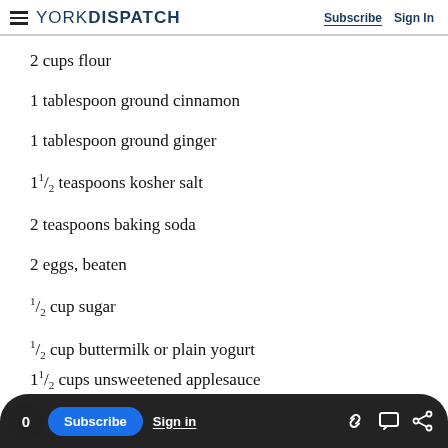YORK DISPATCH — Subscribe | Sign In
2 cups flour
1 tablespoon ground cinnamon
1 tablespoon ground ginger
1 1/2 teaspoons kosher salt
2 teaspoons baking soda
2 eggs, beaten
1/2 cup sugar
1/2 cup buttermilk or plain yogurt
1 1/2 cups unsweetened applesauce